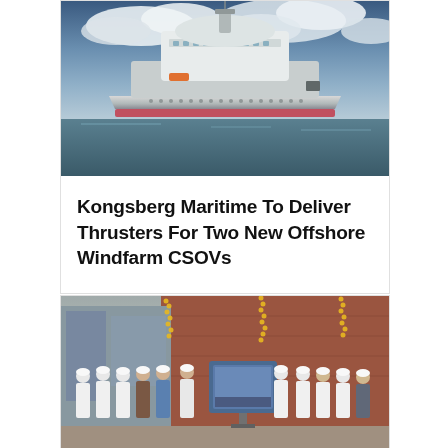[Figure (photo): Rendering of an offshore windfarm crew transfer/service operation vessel (CSOV) on calm water with dramatic cloudy sky background. The vessel is white and grey with a rounded superstructure.]
Kongsberg Maritime To Deliver Thrusters For Two New Offshore Windfarm CSOVs
[Figure (photo): Group photo of naval officers and civilians in white hard hats standing in front of a large ship hull decorated with marigold garlands. They are holding a framed certificate or plaque with 'Cochin' text visible, at what appears to be a ship keel-laying or launch ceremony at a shipyard.]